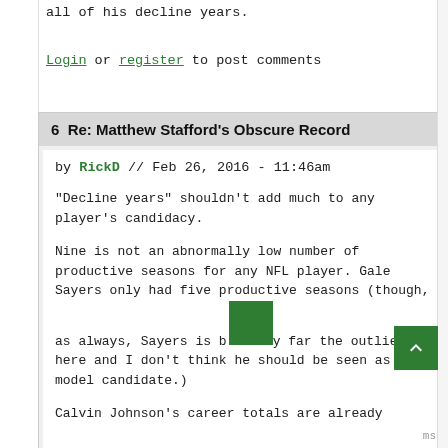all of his decline years.
Login or register to post comments
6  Re: Matthew Stafford's Obscure Record
by RickD // Feb 26, 2016 - 11:46am
"Decline years" shouldn't add much to any player's candidacy.
Nine is not an abnormally low number of productive seasons for any NFL player. Gale Sayers only had five productive seasons (though, as always, Sayers is by far the outlier here and I don't think he should be seen as a model candidate.)
Calvin Johnson's career totals are already higher than Michael Austin's, but he's